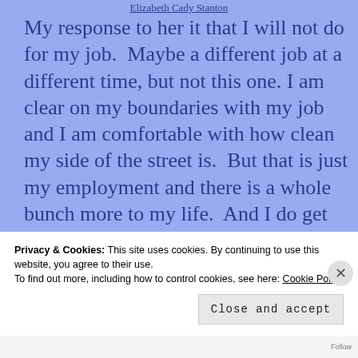Elizabeth Cady Stanton
My response to her it that I will not do for my job.  Maybe a different job at a different time, but not this one. I am clear on my boundaries with my job and I am comfortable with how clean my side of the street is.  But that is just my employment and there is a whole bunch more to my life.  And I do get sucked in.  And why is that?  I guess it changes according to the situation.  In a
Privacy & Cookies: This site uses cookies. By continuing to use this website, you agree to their use.
To find out more, including how to control cookies, see here: Cookie Policy
Close and accept